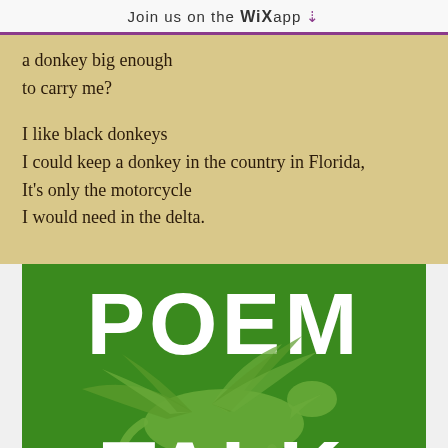Join us on the WiX app ⬇
a donkey big enough
to carry me?

I like black donkeys
I could keep a donkey in the country in Florida,
It's only the motorcycle
I would need in the delta.
[Figure (logo): POEM TALK logo on green background with a winged horse (Pegasus) illustration in light green. Large white bold text reads POEM at top and TALK at the bottom.]